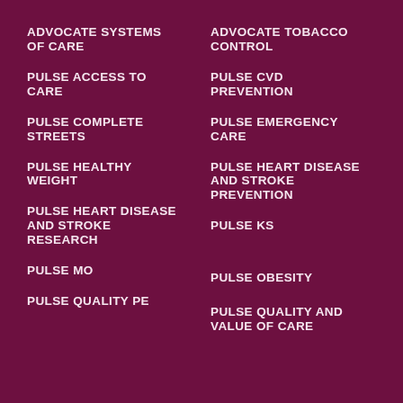ADVOCATE SYSTEMS OF CARE
ADVOCATE TOBACCO CONTROL
PULSE ACCESS TO CARE
PULSE CVD PREVENTION
PULSE COMPLETE STREETS
PULSE EMERGENCY CARE
PULSE HEALTHY WEIGHT
PULSE HEART DISEASE AND STROKE PREVENTION
PULSE HEART DISEASE AND STROKE RESEARCH
PULSE KS
PULSE MO
PULSE OBESITY
PULSE QUALITY PE
PULSE QUALITY AND VALUE OF CARE